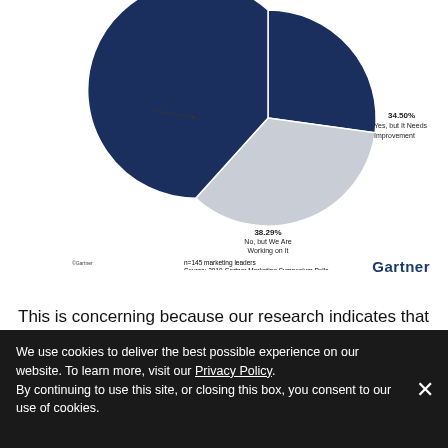[Figure (pie-chart): ]
n=145 marketing leaders
Source: 2019 Gartner Marketing Symposium Polls
Gartner
This is concerning because our research indicates that organizations with a personalization strategy and/or a roadmap are more likely than their peers to experience moderate to significant positive returns from personalization efforts. Marketing
We use cookies to deliver the best possible experience on our website. To learn more, visit our Privacy Policy. By continuing to use this site, or closing this box, you consent to our use of cookies.